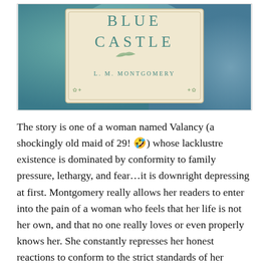[Figure (photo): Book cover of 'The Blue Castle' by L. M. Montgomery, showing stylized teal text on a cream label against a blurred teal/blue background]
The story is one of a woman named Valancy (a shockingly old maid of 29! 🤣) whose lacklustre existence is dominated by conformity to family pressure, lethargy, and fear…it is downright depressing at first. Montgomery really allows her readers to enter into the pain of a woman who feels that her life is not her own, and that no one really loves or even properly knows her. She constantly represses her honest reactions to conform to the strict standards of her